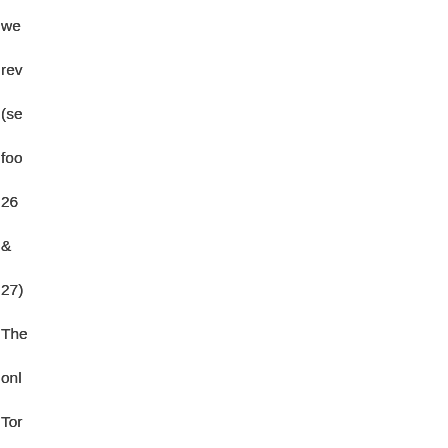we rev (se foo 26 & 27) The onl Tor refe not liste in the foo is Cu Fre Ha A Ge of